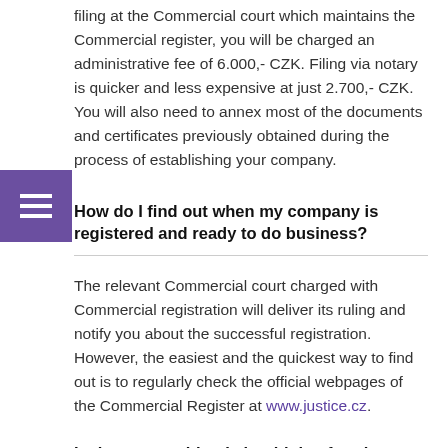filing at the Commercial court which maintains the Commercial register, you will be charged an administrative fee of 6.000,- CZK. Filing via notary is quicker and less expensive at just 2.700,- CZK. You will also need to annex most of the documents and certificates previously obtained during the process of establishing your company.
How do I find out when my company is registered and ready to do business?
The relevant Commercial court charged with Commercial registration will deliver its ruling and notify you about the successful registration. However, the easiest and the quickest way to find out is to regularly check the official webpages of the Commercial Register at www.justice.cz.
Is there something I should do after the registration?